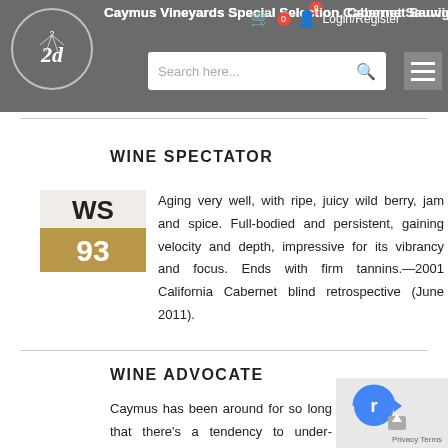Caymus Vineyards Special Selection Cabernet Sauvignon, USA
WINE SPECTATOR
[Figure (illustration): Wine Spectator WS badge showing score 93 in gold/tan colors]
Aging very well, with ripe, juicy wild berry, jam and spice. Full-bodied and persistent, gaining velocity and depth, impressive for its vibrancy and focus. Ends with firm tannins.—2001 California Cabernet blind retrospective (June 2011).
WINE ADVOCATE
Caymus has been around for so long that there's a tendency to under-estimate their wines